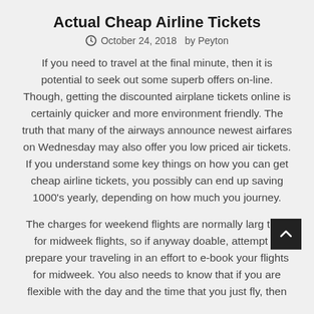Actual Cheap Airline Tickets
October 24, 2018   by Peyton
If you need to travel at the final minute, then it is potential to seek out some superb offers on-line. Though, getting the discounted airplane tickets online is certainly quicker and more environment friendly. The truth that many of the airways announce newest airfares on Wednesday may also offer you low priced air tickets. If you understand some key things on how you can get cheap airline tickets, you possibly can end up saving 1000's yearly, depending on how much you journey.
The charges for weekend flights are normally larg than for midweek flights, so if anyway doable, attempt to prepare your traveling in an effort to e-book your flights for midweek. You also needs to know that if you are flexible with the day and the time that you just fly, then